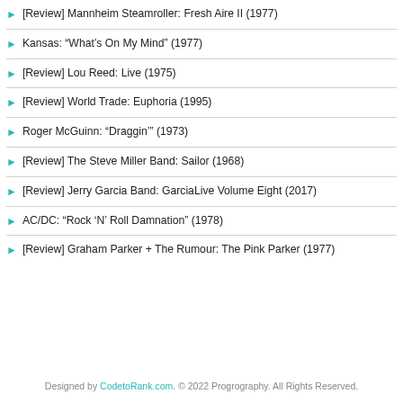[Review] Mannheim Steamroller: Fresh Aire II (1977)
Kansas: “What's On My Mind” (1977)
[Review] Lou Reed: Live (1975)
[Review] World Trade: Euphoria (1995)
Roger McGuinn: “Draggin’” (1973)
[Review] The Steve Miller Band: Sailor (1968)
[Review] Jerry Garcia Band: GarciaLive Volume Eight (2017)
AC/DC: “Rock ‘N’ Roll Damnation” (1978)
[Review] Graham Parker + The Rumour: The Pink Parker (1977)
Designed by CodetoRank.com. © 2022 Progrography. All Rights Reserved.